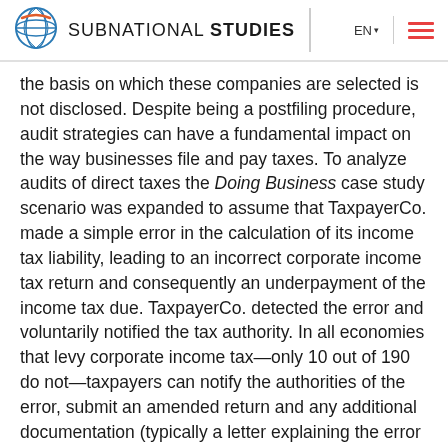SUBNATIONAL STUDIES
the basis on which these companies are selected is not disclosed. Despite being a postfiling procedure, audit strategies can have a fundamental impact on the way businesses file and pay taxes. To analyze audits of direct taxes the Doing Business case study scenario was expanded to assume that TaxpayerCo. made a simple error in the calculation of its income tax liability, leading to an incorrect corporate income tax return and consequently an underpayment of the income tax due. TaxpayerCo. detected the error and voluntarily notified the tax authority. In all economies that levy corporate income tax—only 10 out of 190 do not—taxpayers can notify the authorities of the error, submit an amended return and any additional documentation (typically a letter explaining the error and, in some cases, amended